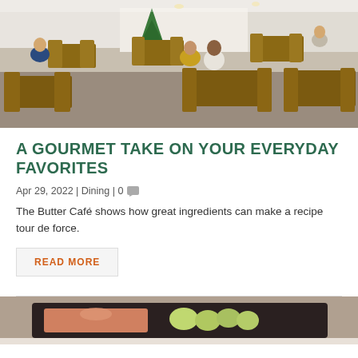[Figure (photo): Interior of a restaurant/café with wooden chairs and tables, customers dining, Christmas tree visible in background, white walls and open kitchen area]
A GOURMET TAKE ON YOUR EVERYDAY FAVORITES
Apr 29, 2022 | Dining | 0
The Butter Café shows how great ingredients can make a recipe tour de force.
READ MORE
[Figure (photo): Close-up of food served in a dark rectangular tray — appears to show broccoli and other food items]